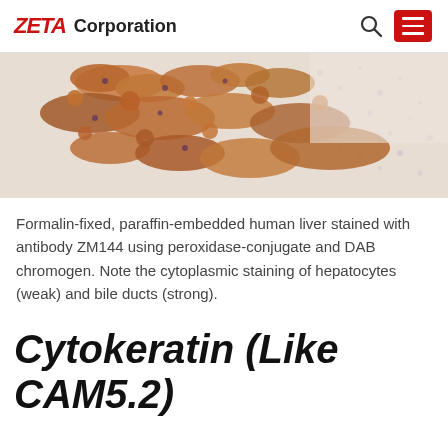ZETA Corporation
[Figure (photo): Microscopy image: Formalin-fixed, paraffin-embedded human liver tissue stained with brown DAB chromogen showing cytoplasmic staining of hepatocytes and bile ducts.]
Formalin-fixed, paraffin-embedded human liver stained with antibody ZM144 using peroxidase-conjugate and DAB chromogen. Note the cytoplasmic staining of hepatocytes (weak) and bile ducts (strong).
Cytokeratin (Like CAM5.2)